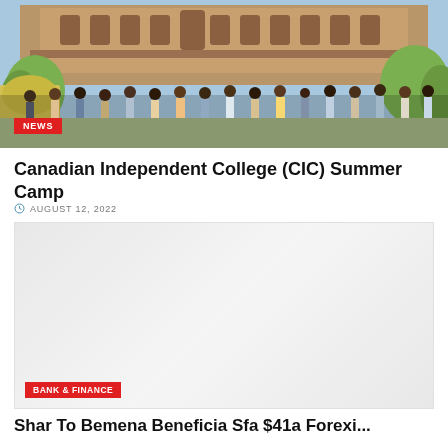[Figure (photo): Group of students standing in front of a historic stone building (Ontario Legislature/similar), with yellow flowers and green trees visible. The group consists of approximately 20 young people.]
NEWS
Canadian Independent College (CIC) Summer Camp
AUGUST 12, 2022
[Figure (photo): A second article image placeholder with light gray background]
BANK & FINANCE
Shar To Bemena Beneficia Sfa $41a Forexi...